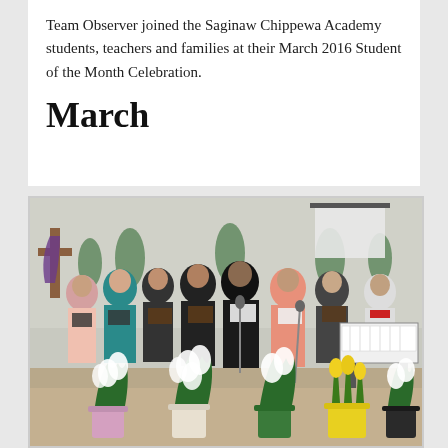Team Observer joined the Saginaw Chippewa Academy students, teachers and families at their March 2016 Student of the Month Celebration.
March
[Figure (photo): A choir of adults singing on a stage in a gymnasium, holding sheet music and song books. The front of the stage is decorated with white Easter lily plants in colorful pots and yellow tulips. A keyboard/piano is visible on the right. A wooden cross with purple cloth is visible on the left background. Green potted plants are arranged along the back wall.]